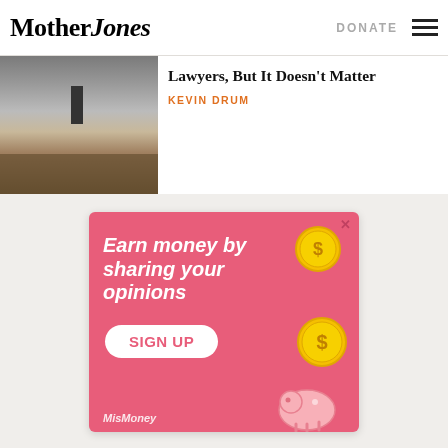Mother Jones | DONATE
Lawyers, But It Doesn't Matter
KEVIN DRUM
[Figure (photo): Interior of the US Capitol rotunda with people and a person holding a cross visible]
[Figure (infographic): Advertisement: Earn money by sharing your opinions. Sign Up. MisMoney logo with gold coins and piggy bank illustration.]